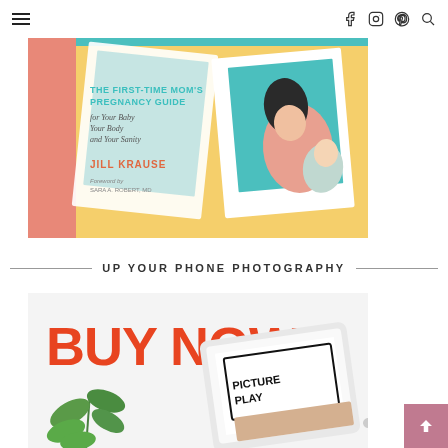Navigation bar with hamburger menu, Facebook, Instagram, Pinterest, and Search icons
[Figure (photo): Book cover: 'The First-Time Mom's Pregnancy Guide for Your Baby Your Body and Your Sanity' by Jill Krause, Foreword by Sara A. Robert, MD. Yellow and pink cover with illustration of mother and baby.]
UP YOUR PHONE PHOTOGRAPHY
[Figure (photo): Promotional image with 'BUY NOW' in large orange-red text, a plant, and a tablet showing 'PICTURE PLAY' on a light background.]